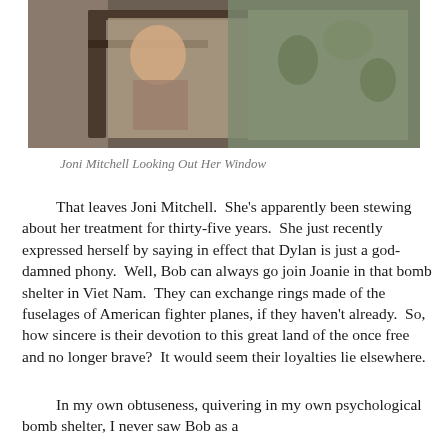[Figure (photo): Photo of Joni Mitchell looking out her window, partially visible through a wooden window frame]
Joni Mitchell Looking Out Her Window
That leaves Joni Mitchell.  She's apparently been stewing about her treatment for thirty-five years.  She just recently expressed herself by saying in effect that Dylan is just a god-damned phony.  Well, Bob can always go join Joanie in that bomb shelter in Viet Nam.  They can exchange rings made of the fuselages of American fighter planes, if they haven't already.  So, how sincere is their devotion to this great land of the once free and no longer brave?  It would seem their loyalties lie elsewhere.
In my own obtuseness, quivering in my own psychological bomb shelter, I never saw Bob as a